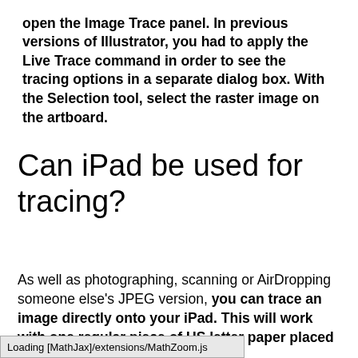open the Image Trace panel. In previous versions of Illustrator, you had to apply the Live Trace command in order to see the tracing options in a separate dialog box. With the Selection tool, select the raster image on the artboard.
Can iPad be used for tracing?
As well as photographing, scanning or AirDropping someone else's JPEG version, you can trace an image directly onto your iPad. This will work with one regular piece of US letter paper placed … also have
Loading [MathJax]/extensions/MathZoom.js